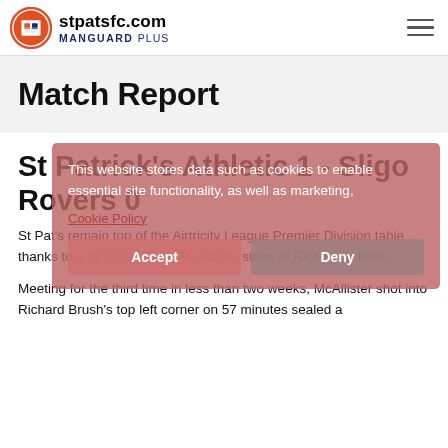stpatsfc.com MANGUARD PLUS
Match Report
St Patrick's Athletic 1 - Sligo Rovers 0
St Pat's remain top of the Airtricity League Premier Division table thanks to a fantastic David McAllister strike at Richmond Park.
This website stores data such as cookies to enable essential site functionality, as well as marketing, of the Airtricity League Premier Division Cookie Policy
Meeting for the third time in less than two weeks, McAllister shot into Richard Brush's top left corner on 57 minutes sealed a third win from those three Setanta Sports Cup and league...